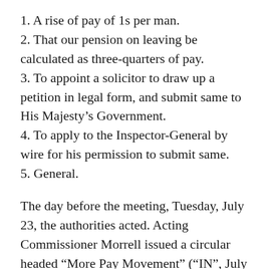1. A rise of pay of 1s per man.
2. That our pension on leaving be calculated as three-quarters of pay.
3. To appoint a solicitor to draw up a petition in legal form, and submit same to His Majesty’s Government.
4. To apply to the Inspector-General by wire for his permission to submit same.
5. General.
The day before the meeting, Tuesday, July 23, the authorities acted. Acting Commissioner Morrell issued a circular headed “More Pay Movement” (“IN”, July 25) – “With reference to the circular which has been sent to the several barracks in the City this morning asking the men to hold a general meeting, I have directed that you remind the men that no such meeting can be held without the direction of the Inspector-General – By